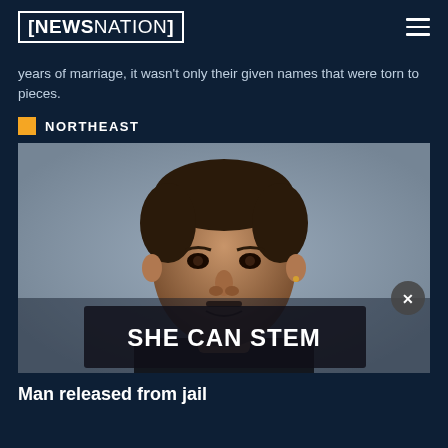NEWSNATION
years of marriage, it wasn't only their given names that were torn to pieces.
NORTHEAST
[Figure (photo): Mugshot photo of a middle-aged man with a neutral expression against a gray background, with a 'SHE CAN STEM' ad overlay at the bottom and a close (X) button.]
Man released from jail